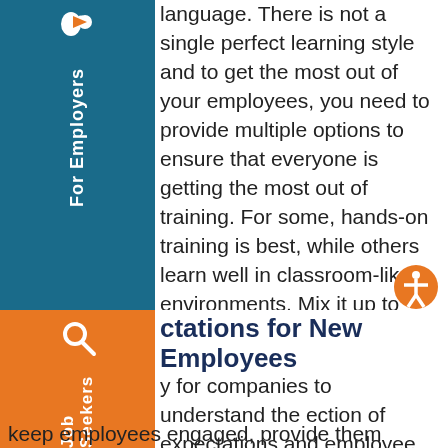language. There is not a single perfect learning style and to get the most out of your employees, you need to provide multiple options to ensure that everyone is getting the most out of training. For some, hands-on training is best, while others learn well in classroom-like environments. Mix it up to reach everyone.
Expectations for New Employees
It is key for companies to understand the connection of expectations and employee satisfaction. This will directly impact turnover, especially within the first 90 days to a year. A positive onboarding and training experience will keep employees engaged, provide them